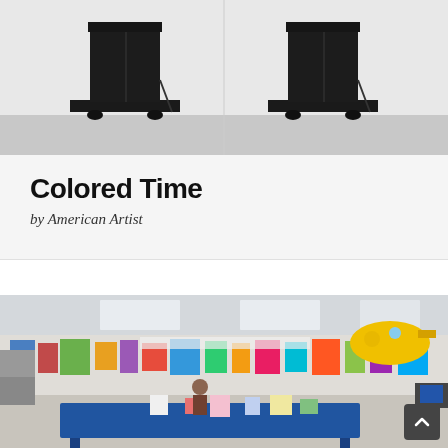[Figure (photo): Two black box-like sculptural objects (tall rectangular black structures on bases) photographed side by side against a light grey/white background, shown twice as a diptych.]
Colored Time
by American Artist
[Figure (photo): Interior of a colorful art classroom with student artwork covering the walls, a blue table in the foreground with art objects, a yellow submarine painting visible on the upper right wall, and fluorescent ceiling lights.]